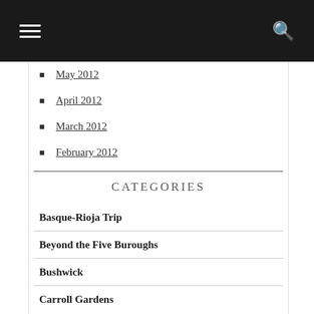navigation menu header with hamburger icon and search icon
May 2012
April 2012
March 2012
February 2012
CATEGORIES
Basque-Rioja Trip
Beyond the Five Buroughs
Bushwick
Carroll Gardens